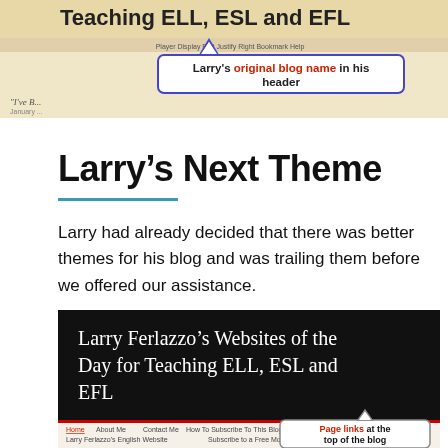[Figure (screenshot): Screenshot of Larry Ferlazzo's blog header showing 'Teaching ELL, ESL and EFL' with a callout annotation 'Larry's original blog name in his header']
Larry's Next Theme
Larry had already decided that there was better themes for his blog and was trailing them before we offered our assistance.
[Figure (screenshot): Screenshot of Larry Ferlazzo's Websites of the Day for Teaching ELL, ESL and EFL blog with navigation links and callout 'Page links at the top of the blog']